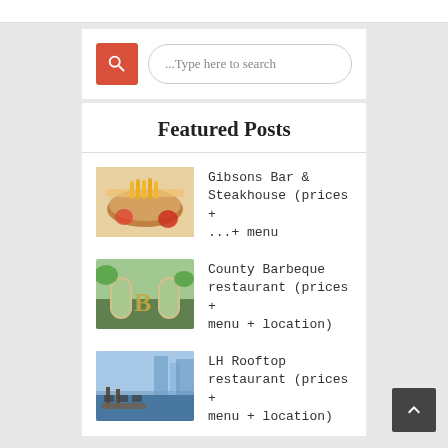[Figure (screenshot): Search bar with red search icon button and text '...Type here to search']
Featured Posts
[Figure (photo): Food photo showing BBQ ribs with fries and dipping sauce]
Gibsons Bar & Steakhouse (prices + ...+ menu
[Figure (photo): Exterior photo of County Barbeque restaurant with large arched B logo]
County Barbeque restaurant (prices + menu + location)
[Figure (photo): Rooftop restaurant photo with city skyline and marina in background]
LH Rooftop restaurant (prices + menu + location)